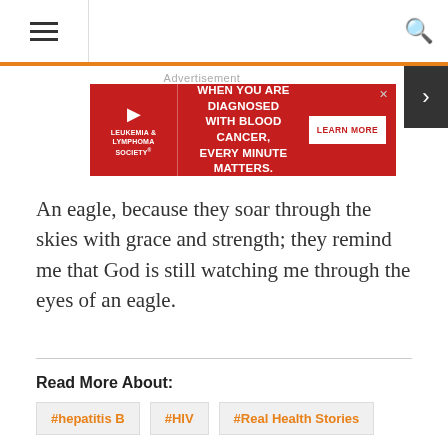Navigation bar with hamburger menu and search icon
[Figure (other): Advertisement banner for Leukemia & Lymphoma Society: 'When you are diagnosed with blood cancer, every minute matters. Learn More']
An eagle, because they soar through the skies with grace and strength; they remind me that God is still watching me through the eyes of an eagle.
Read More About:
#hepatitis B
#HIV
#Real Health Stories